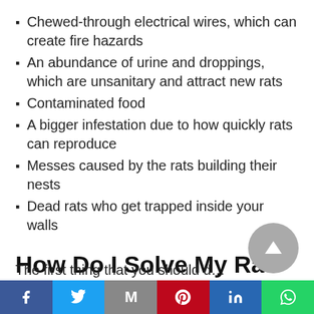Chewed-through electrical wires, which can create fire hazards
An abundance of urine and droppings, which are unsanitary and attract new rats
Contaminated food
A bigger infestation due to how quickly rats can reproduce
Messes caused by the rats building their nests
Dead rats who get trapped inside your walls
How Do I Solve My Rat Problem?
The first thing that you should…
Facebook | Twitter | Email | Pinterest | LinkedIn | WhatsApp